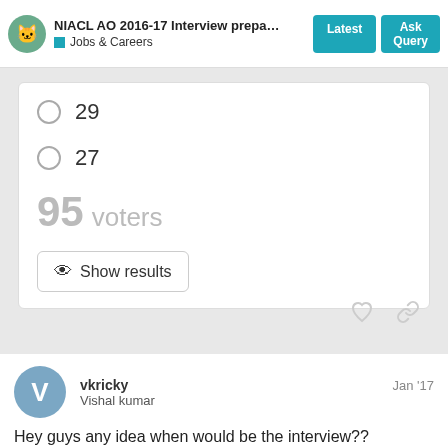NIACL AO 2016-17 Interview preparat... | Latest | Ask Query | Jobs & Careers
29
27
95 voters
Show results
vkricky  Jan '17
Vishal kumar
Hey guys any idea when would be the interview??